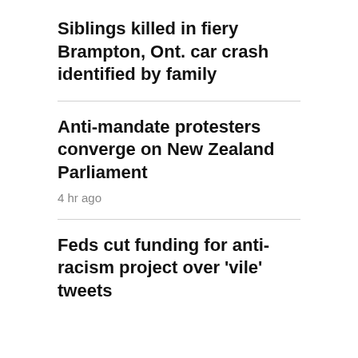Siblings killed in fiery Brampton, Ont. car crash identified by family
Anti-mandate protesters converge on New Zealand Parliament
4 hr ago
Feds cut funding for anti-racism project over 'vile' tweets
MOST READ
[Figure (photo): Photo showing ambulance with red flashing lights in a green wooded area, labeled 1 (Most Read #1)]
[Figure (photo): Partial photo showing a hand or skin, labeled 2 (Most Read #2)]